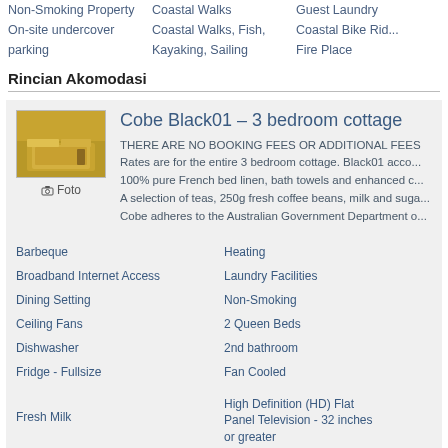Non-Smoking Property
On-site undercover parking
Coastal Walks
Coastal Walks, Fish, Kayaking, Sailing
Guest Laundry
Coastal Bike Rid...
Fire Place
Rincian Akomodasi
Cobe Black01 – 3 bedroom cottage
THERE ARE NO BOOKING FEES OR ADDITIONAL FEES Rates are for the entire 3 bedroom cottage. Black01 acco... 100% pure French bed linen, bath towels and enhanced c... A selection of teas, 250g fresh coffee beans, milk and suga... Cobe adheres to the Australian Government Department o...
Barbeque
Broadband Internet Access
Dining Setting
Ceiling Fans
Dishwasher
Fridge - Fullsize
Fresh Milk
High speed wireless
Heating
Laundry Facilities
Non-Smoking
2 Queen Beds
2nd bathroom
Fan Cooled
High Definition (HD) Flat Panel Television - 32 inches or greater
Dining Area